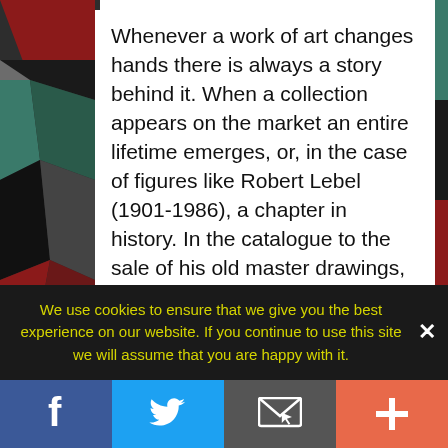[Figure (illustration): Colorful abstract art background with mosaic-like angular shapes in red, teal, black, and white visible on the left and right edges behind the white content card]
Whenever a work of art changes hands there is always a story behind it. When a collection appears on the market an entire lifetime emerges, or, in the case of figures like Robert Lebel (1901-1986), a chapter in history. In the catalogue to the sale of his old master drawings, Sotheby's manages to condense Lebel's extraordinary range of interests and experience into a single paragraph. To say that he "defied classification" is not an exaggeration. An art historian and collector, he wrote essays, novels, as well as the first biography of Marcel Duchamp. He was a friend of André Breton, Max Ernst, and Jacques...
We use cookies to ensure that we give you the best experience on our website. If you continue to use this site we will assume that you are happy with it.